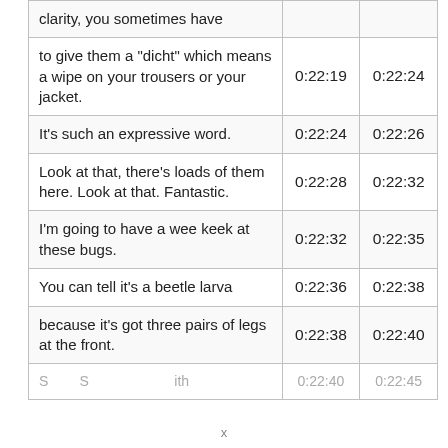|  |  |  |
| --- | --- | --- |
| clarity, you sometimes have |  |  |
| to give them a "dicht" which means a wipe on your trousers or your jacket. | 0:22:19 | 0:22:24 |
| It's such an expressive word. | 0:22:24 | 0:22:26 |
| Look at that, there's loads of them here. Look at that. Fantastic. | 0:22:28 | 0:22:32 |
| I'm going to have a wee keek at these bugs. | 0:22:32 | 0:22:35 |
| You can tell it's a beetle larva | 0:22:36 | 0:22:38 |
| because it's got three pairs of legs at the front. | 0:22:38 | 0:22:40 |
| [partially visible row] | 0:22:40 | 0:22:45 |
x